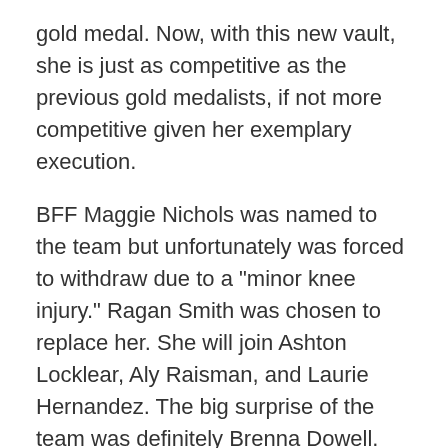gold medal. Now, with this new vault, she is just as competitive as the previous gold medalists, if not more competitive given her exemplary execution.
BFF Maggie Nichols was named to the team but unfortunately was forced to withdraw due to a "minor knee injury." Ragan Smith was chosen to replace her. She will join Ashton Locklear, Aly Raisman, and Laurie Hernandez. The big surprise of the team was definitely Brenna Dowell. After what we were told was an exemplary training camp, Dowell had multiple errors on uneven bars, the main reason she was chosen for the team. Because of this, she did not compete at all in team finals. Dowell must have